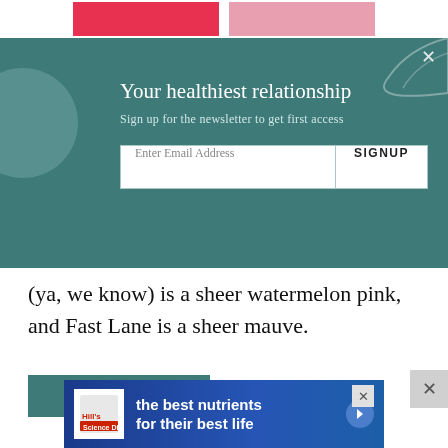[Figure (screenshot): Two pink/red buttons partially visible at top of page]
Your healthiest relationship
Sign up for the newsletter to get first access
Enter Email Address
SIGNUP
(ya, we know) is a sheer watermelon pink, and Fast Lane is a sheer mauve.
SHOP NOW
[Figure (other): Hill's pet nutrition advertisement banner: blue background, Hill's logo, text 'the best nutrients for their best life' with right arrow]